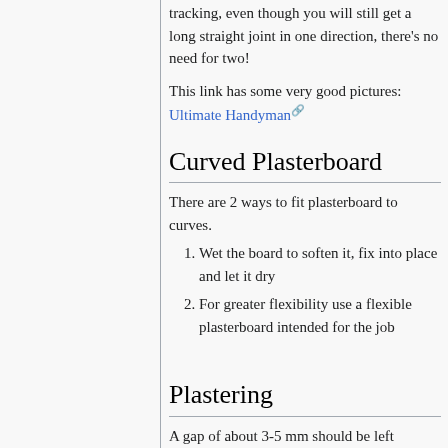tracking, even though you will still get a long straight joint in one direction, there's no need for two!
This link has some very good pictures: Ultimate Handyman
Curved Plasterboard
There are 2 ways to fit plasterboard to curves.
Wet the board to soften it, fix into place and let it dry
For greater flexibility use a flexible plasterboard intended for the job
Plastering
A gap of about 3-5 mm should be left